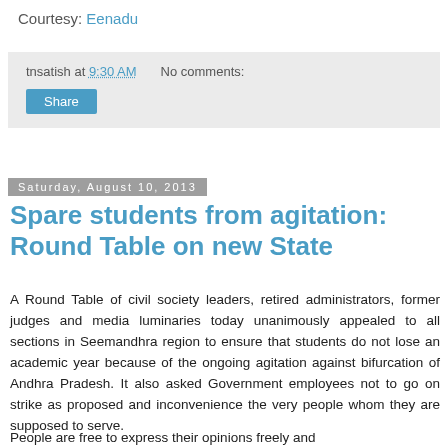Courtesy: Eenadu
tnsatish at 9:30 AM   No comments:   Share
Saturday, August 10, 2013
Spare students from agitation: Round Table on new State
A Round Table of civil society leaders, retired administrators, former judges and media luminaries today unanimously appealed to all sections in Seemandhra region to ensure that students do not lose an academic year because of the ongoing agitation against bifurcation of Andhra Pradesh. It also asked Government employees not to go on strike as proposed and inconvenience the very people whom they are supposed to serve.
People are free to express their opinions freely and